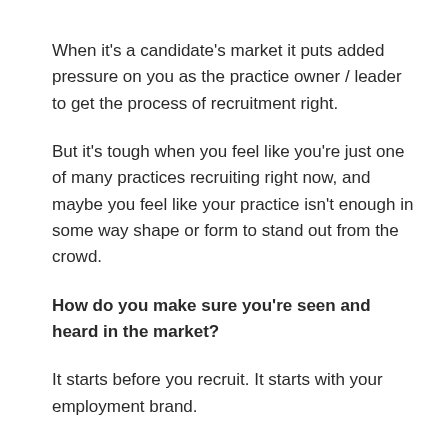When it's a candidate's market it puts added pressure on you as the practice owner / leader to get the process of recruitment right.
But it's tough when you feel like you're just one of many practices recruiting right now, and maybe you feel like your practice isn't enough in some way shape or form to stand out from the crowd.
How do you make sure you're seen and heard in the market?
It starts before you recruit. It starts with your employment brand.
Your employment brand is the image that your prospective, current, and past employees have in their